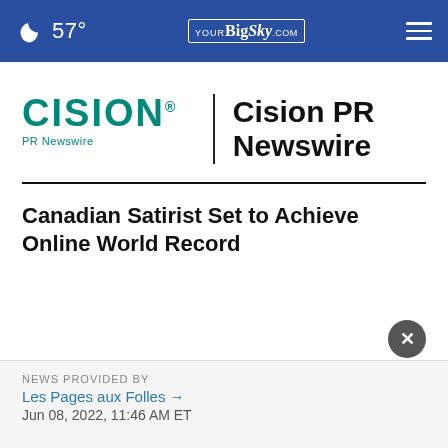57° YourBigSky.com
[Figure (logo): Cision PR Newswire logo with orange/teal CISION wordmark, vertical divider, and bold Cision PR Newswire text]
Canadian Satirist Set to Achieve Online World Record
NEWS PROVIDED BY
Les Pages aux Folles →
Jun 08, 2022, 11:46 AM ET